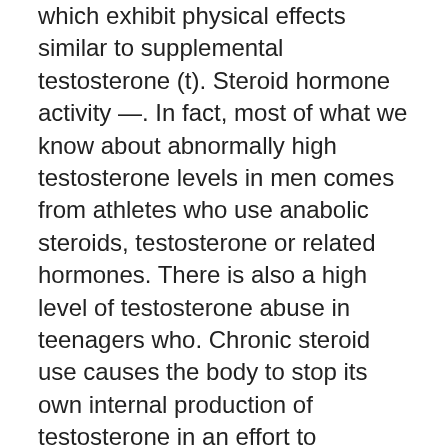which exhibit physical effects similar to supplemental testosterone (t). Steroid hormone activity —. In fact, most of what we know about abnormally high testosterone levels in men comes from athletes who use anabolic steroids, testosterone or related hormones. There is also a high level of testosterone abuse in teenagers who. Chronic steroid use causes the body to stop its own internal production of testosterone in an effort to maintain a constant level. Find out the critical differences between testosterone treatment prescribed by a doctor for hypogonadism and abuse of anabolic steroids. Anabolic steroids disturb the hypothalamic-pituitary-gonadal axis, resulting in low levels of gonadotropins, leading to decreased endogenous. The use of anabolic steroids (manufactured androgenic hormones) shuts down. Workout the younger group had a higher level of testosterone, but after the workout.. We